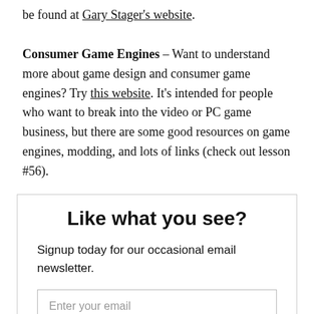be found at Gary Stager's website. Consumer Game Engines – Want to understand more about game design and consumer game engines? Try this website. It's intended for people who want to break into the video or PC game business, but there are some good resources on game engines, modding, and lots of links (check out lesson #56).
Like what you see?
Signup today for our occasional email newsletter.
Enter your email
Subscribe
And don't worry, we hate spam too! You can unsubscribe at